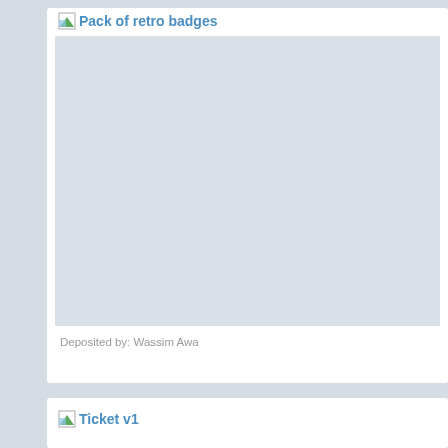Pack of retro badges
[Figure (photo): Large light blue placeholder image area for pack of retro badges]
Deposited by: Wassim Awa
Ticket v1